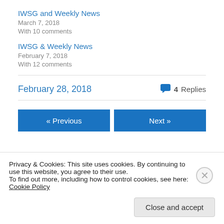IWSG and Weekly News
March 7, 2018
With 10 comments
IWSG & Weekly News
February 7, 2018
With 12 comments
February 28, 2018   4 Replies
« Previous   Next »
Privacy & Cookies: This site uses cookies. By continuing to use this website, you agree to their use.
To find out more, including how to control cookies, see here: Cookie Policy
Close and accept